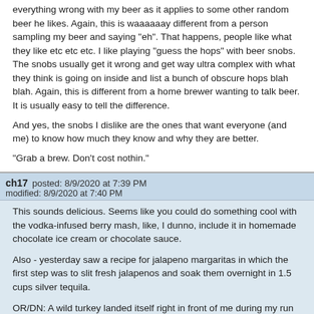everything wrong with my beer as it applies to some other random beer he likes. Again, this is waaaaaay different from a person sampling my beer and saying "eh". That happens, people like what they like etc etc etc. I like playing "guess the hops" with beer snobs. The snobs usually get it wrong and get way ultra complex with what they think is going on inside and list a bunch of obscure hops blah blah. Again, this is different from a home brewer wanting to talk beer. It is usually easy to tell the difference.
And yes, the snobs I dislike are the ones that want everyone (and me) to know how much they know and why they are better.
"Grab a brew. Don't cost nothin."
ch17   posted: 8/9/2020 at 7:39 PM
modified: 8/9/2020 at 7:40 PM
This sounds delicious. Seems like you could do something cool with the vodka-infused berry mash, like, I dunno, include it in homemade chocolate ice cream or chocolate sauce.
Also - yesterday saw a recipe for jalapeno margaritas in which the first step was to slit fresh jalapenos and soak them overnight in 1.5 cups silver tequila.
OR/DN: A wild turkey landed itself right in front of me during my run today and then just sat there. So obviously tonight's cocktail included Wild Turkey 101. Also probably going to hit it chilled...